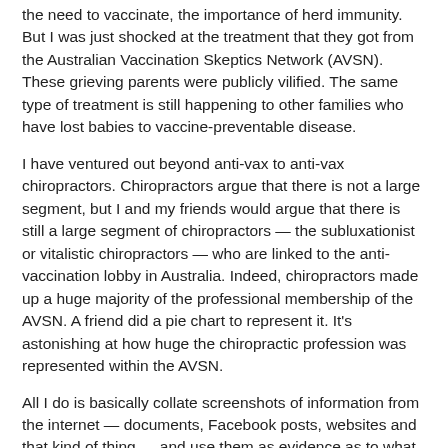the need to vaccinate, the importance of herd immunity. But I was just shocked at the treatment that they got from the Australian Vaccination Skeptics Network (AVSN). These grieving parents were publicly vilified. The same type of treatment is still happening to other families who have lost babies to vaccine-preventable disease.
I have ventured out beyond anti-vax to anti-vax chiropractors. Chiropractors argue that there is not a large segment, but I and my friends would argue that there is still a large segment of chiropractors — the subluxationist or vitalistic chiropractors — who are linked to the anti-vaccination lobby in Australia. Indeed, chiropractors made up a huge majority of the professional membership of the AVSN. A friend did a pie chart to represent it. It's astonishing at how huge the chiropractic profession was represented within the AVSN.
All I do is basically collate screenshots of information from the internet — documents, Facebook posts, websites and that kind of thing — and use them as evidence as to what people are doing and present them to a wider audience through my blog. My practices are pretty simple and straightforward.
But you learn pretty quickly that the internet can be a big bad place and you learn pretty quickly the true definition of trolling. They are out to get a response, they are out to offend, they are out for any sort of